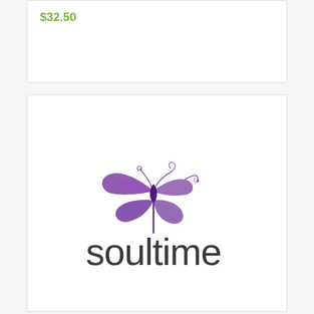$32.50
[Figure (logo): Soultime brand logo featuring a purple butterfly perched on a thin vertical line above the word 'soultime' in dark gray lowercase letters]